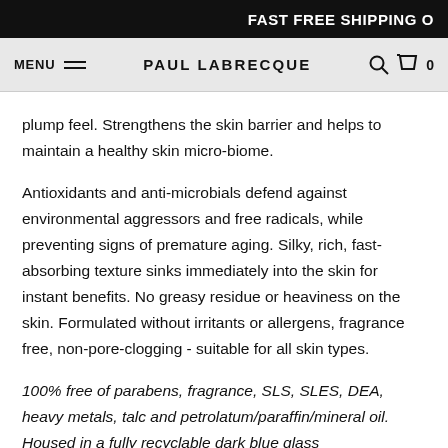FAST FREE SHIPPING O
MENU  PAUL LABRECQUE  0
plump feel. Strengthens the skin barrier and helps to maintain a healthy skin micro-biome.
Antioxidants and anti-microbials defend against environmental aggressors and free radicals, while preventing signs of premature aging. Silky, rich, fast-absorbing texture sinks immediately into the skin for instant benefits. No greasy residue or heaviness on the skin. Formulated without irritants or allergens, fragrance free, non-pore-clogging - suitable for all skin types.
100% free of parabens, fragrance, SLS, SLES, DEA, heavy metals, talc and petrolatum/paraffin/mineral oil. Housed in a fully recyclable dark blue glass